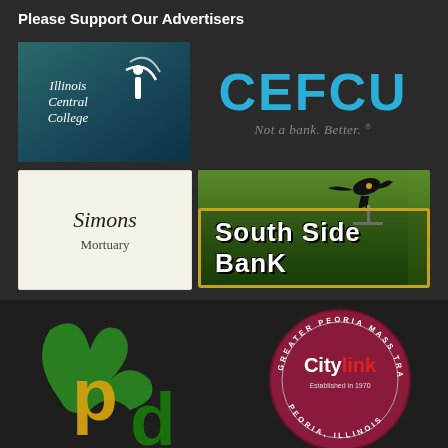Please Support Our Advertisers
[Figure (logo): Illinois Central College logo on teal/dark background]
[Figure (logo): CEFCU logo - large blue text CEFCU with tagline 'Not a bank. Better.']
[Figure (logo): Simons Mortuary logo on cream background]
[Figure (logo): South Side Bank logo on green gradient background]
[Figure (logo): PPD logo - green and yellow letters on dark background]
[Figure (logo): CityLink - Greater Peoria Mass Transit District circular badge, Established in 1970, Peoria Illinois]
[Figure (logo): Simons (partial) logo on cream background]